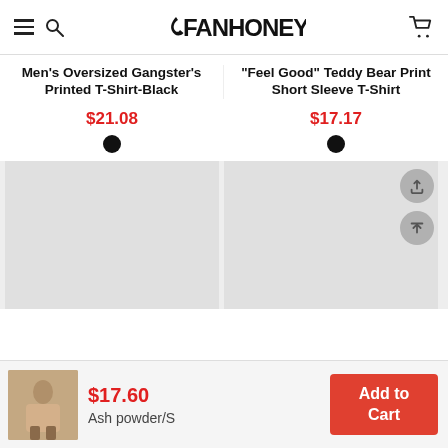FANHONEY
Men's Oversized Gangster's Printed T-Shirt-Black
"Feel Good" Teddy Bear Print Short Sleeve T-Shirt
$21.08
$17.17
[Figure (photo): Left product image placeholder (grey box)]
[Figure (photo): Right product image placeholder (grey box) with share and scroll-to-top action buttons]
$17.60
Ash powder/S
[Figure (photo): Small thumbnail of a person wearing the t-shirt in ash powder color]
Add to Cart